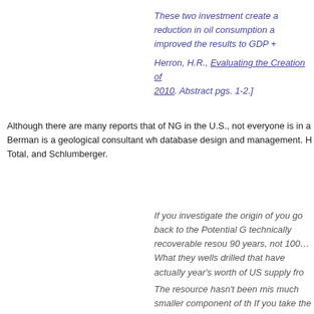These two investment create a reduction in oil consumption a improved the results to GDP +
Herron, H.R., Evaluating the Creation of 2010. Abstract pgs. 1-2.]
Although there are many reports that of NG in the U.S., not everyone is in a Berman is a geological consultant wh database design and management. H Total, and Schlumberger.
If you investigate the origin of you go back to the Potential G technically recoverable resou 90 years, not 100…What they wells drilled that have actually year's worth of US supply fro
The resource hasn't been mis much smaller component of th If you take the proved reserve